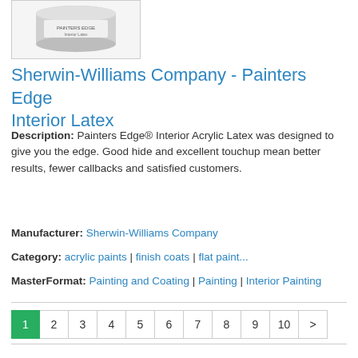[Figure (photo): Product image of Sherwin-Williams Painters Edge Interior Latex paint can, shown from above at slight angle, white/grey lid visible]
Sherwin-Williams Company - Painters Edge Interior Latex
Description: Painters Edge® Interior Acrylic Latex was designed to give you the edge. Good hide and excellent touchup mean better results, fewer callbacks and satisfied customers.
Manufacturer: Sherwin-Williams Company
Category: acrylic paints | finish coats | flat paint...
MasterFormat: Painting and Coating | Painting | Interior Painting